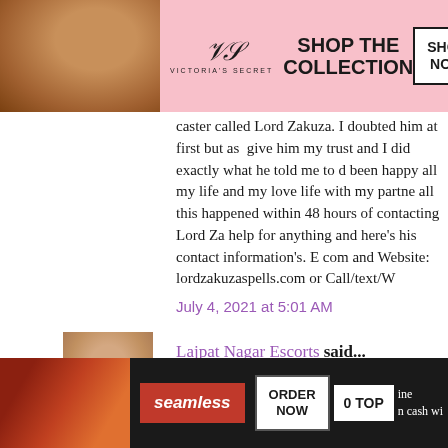[Figure (photo): Victoria's Secret advertisement banner with a woman's photo, VS logo, 'SHOP THE COLLECTION' text, and 'SHOP NOW' button]
caster called Lord Zakuza. I doubted him at first but as give him my trust and I did exactly what he told me to d been happy all my life and my love life with my partne all this happened within 48 hours of contacting Lord Za help for anything and here's his contact information's. E com and Website: lordzakuzaspells.com or Call/text/W
July 4, 2021 at 5:01 AM
Lajpat Nagar Escorts said...
[Figure (photo): Small avatar photo of a person]
They know the worth of their item. These grown-up ad that assists with carrying customers to them. Kindly rec prior to booking them everyone can't have the option t Independent Celebrity Escorts in Delhi st give the
[Figure (photo): Seamless food delivery advertisement with pizza image, 'seamless' button, 'ORDER NOW' button, '0 TOP' text, and 'CLOSE' button]